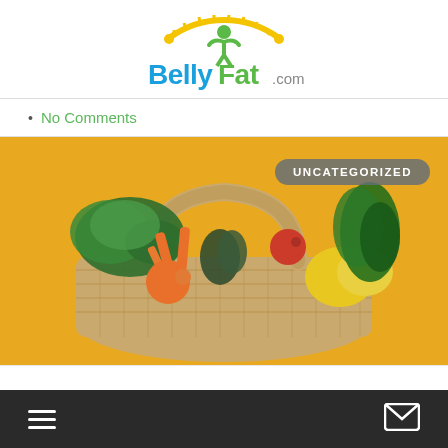BellyFat.com logo
No Comments
[Figure (photo): A wicker basket filled with fresh vegetables including kale, carrots, tomatoes, avocado, lemons, and dill, against a bright yellow background. An 'UNCATEGORIZED' badge is overlaid in the top right.]
Navigation bottom bar with hamburger menu and mail icon